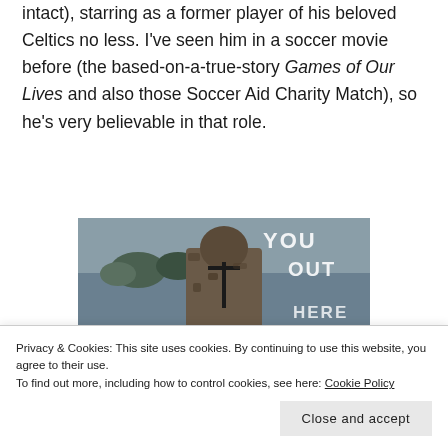former soccer star (with his Scottish brogue intact), starring as a former player of his beloved Celtics no less. I've seen him in a soccer movie before (the based-on-a-true-story Games of Our Lives and also those Soccer Aid Charity Match), so he's very believable in that role.
[Figure (photo): Partial image showing a person in camouflage gear from behind, with a lake and trees in the background. Overlaid text reads 'YOU', 'OUT', 'HERE' in bold white letters.]
Privacy & Cookies: This site uses cookies. By continuing to use this website, you agree to their use.
To find out more, including how to control cookies, see here: Cookie Policy